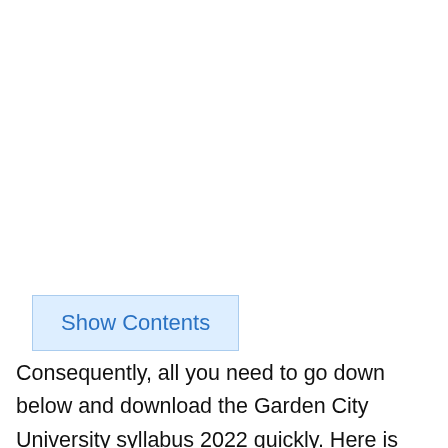Show Contents
Consequently, all you need to go down below and download the Garden City University syllabus 2022 quickly. Here is the last update on 21,August 2022.